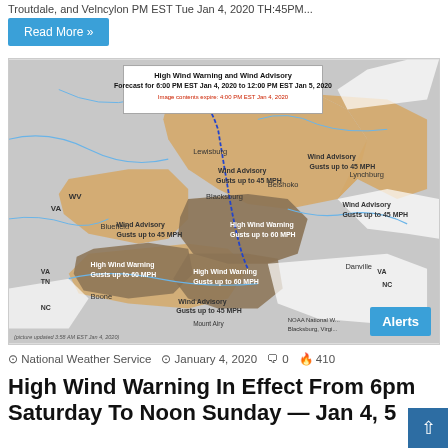Troutdale, and Velncylon PM EST Tue Jan 4, 2020 TH:45PM...
Read More »
[Figure (map): High Wind Warning and Wind Advisory forecast map for 6:00 PM EST Jan 4, 2020 to 12:00 PM EST Jan 5, 2020. Shows regions of WV and VA with Wind Advisory (Gusts up to 45 MPH) in light tan, and High Wind Warning (Gusts up to 60 MPH) in darker brown. Cities labeled include Lewisburg, Blacksburg, Bluefield, Lynchburg, Danville, Boone. States labeled: WV, VA, TN, NC. NOAA National Weather Service Blacksburg Virginia.]
National Weather Service  January 4, 2020  0  410
High Wind Warning In Effect From 6pm Saturday To Noon Sunday — Jan 4, 5